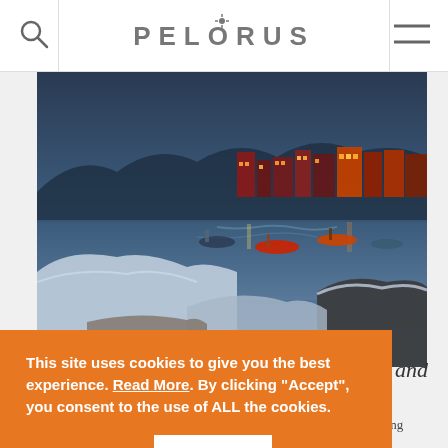PELORUS
[Figure (photo): Aerial or elevated view of a snowy Arctic harbor town at dusk, with boats moored in blue water, snow-covered hills in the foreground, and colorful buildings lit up in the background.]
This site uses cookies to give you the best experience. Read More. By clicking “Accept”, you consent to the use of ALL the cookies.
Cookie settings  ACCEPT
erness and
iscovered, xcitement and abundant wildlife which will leave you wanting more.